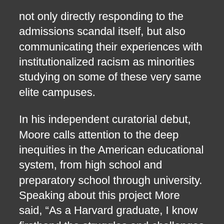not only directly responding to the admissions scandal itself, but also communicating their experiences with institutionalized racism as minorities studying on some of these very same elite campuses.
In his independent curatorial debut, Moore calls attention to the deep inequities in the American educational system, from high school and preparatory school through university. Speaking about this project More said, “As a Harvard graduate, I know firsthand the struggles and challenges African-American students face at the overwhelmingly white institutions they attend. This unique experience of existing within elite spaces informed my work on this exhibition and helped me tease out the themes of racial